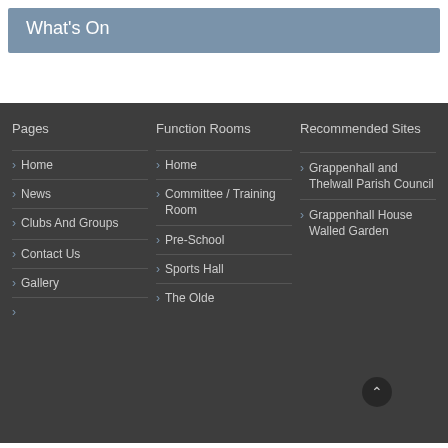What's On
Pages
Home
News
Clubs And Groups
Contact Us
Gallery
Function Rooms
Home
Committee / Training Room
Pre-School
Sports Hall
The Olde
Recommended Sites
Grappenhall and Thelwall Parish Council
Grappenhall House Walled Garden